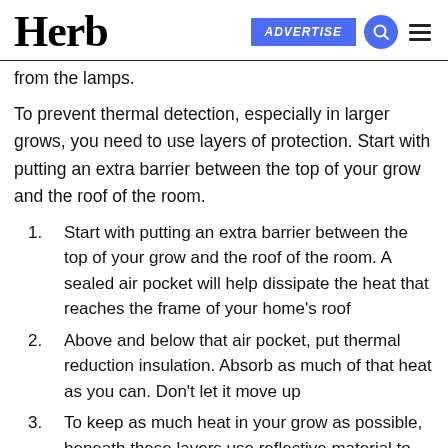Herb | ADVERTISE
from the lamps.
To prevent thermal detection, especially in larger grows, you need to use layers of protection. Start with putting an extra barrier between the top of your grow and the roof of the room.
Start with putting an extra barrier between the top of your grow and the roof of the room. A sealed air pocket will help dissipate the heat that reaches the frame of your home’s roof
Above and below that air pocket, put thermal reduction insulation. Absorb as much of that heat as you can. Don’t let it move up
To keep as much heat in your grow as possible, beneath these layers use reflective material to